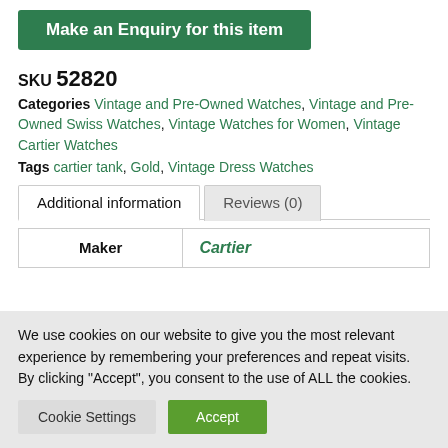Make an Enquiry for this item
SKU 52820
Categories Vintage and Pre-Owned Watches, Vintage and Pre-Owned Swiss Watches, Vintage Watches for Women, Vintage Cartier Watches
Tags cartier tank, Gold, Vintage Dress Watches
Additional information | Reviews (0)
| Maker |  |
| --- | --- |
| Maker | Cartier |
We use cookies on our website to give you the most relevant experience by remembering your preferences and repeat visits. By clicking “Accept”, you consent to the use of ALL the cookies.
Cookie Settings | Accept